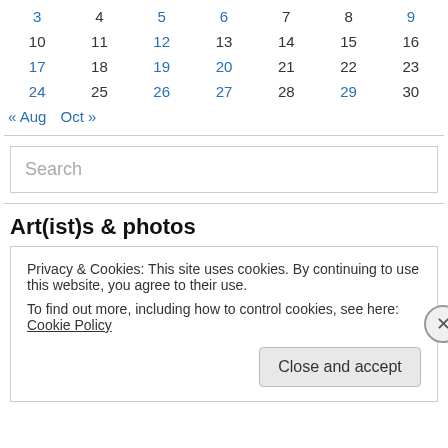| 3 | 4 | 5 | 6 | 7 | 8 | 9 |
| 10 | 11 | 12 | 13 | 14 | 15 | 16 |
| 17 | 18 | 19 | 20 | 21 | 22 | 23 |
| 24 | 25 | 26 | 27 | 28 | 29 | 30 |
« Aug   Oct »
Search
Art(ist)s & photos
Privacy & Cookies: This site uses cookies. By continuing to use this website, you agree to their use.
To find out more, including how to control cookies, see here: Cookie Policy
Close and accept